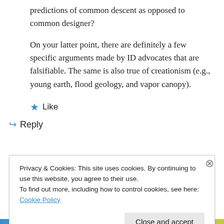predictions of common descent as opposed to common designer?
On your latter point, there are definitely a few specific arguments made by ID advocates that are falsifiable. The same is also true of creationism (e.g., young earth, flood geology, and vapor canopy).
★ Like
↳ Reply
Privacy & Cookies: This site uses cookies. By continuing to use this website, you agree to their use.
To find out more, including how to control cookies, see here: Cookie Policy
Close and accept